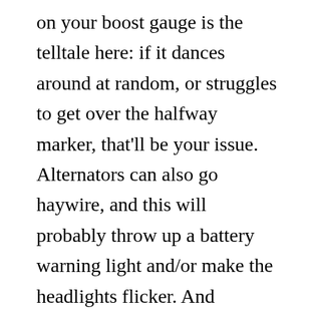on your boost gauge is the telltale here: if it dances around at random, or struggles to get over the halfway marker, that'll be your issue. Alternators can also go haywire, and this will probably throw up a battery warning light and/or make the headlights flicker. And another fairly common problem is for the oil filter housing diaphragm to split – if the car's making an unsettling whistling noise at idle, whip out the dipstick and see if it stops; if so, that's a problem that needs fixing. A new unit is